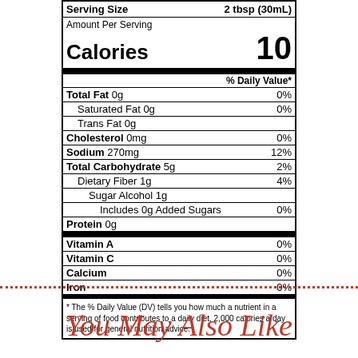| Nutrient | Amount | % Daily Value |
| --- | --- | --- |
| Serving Size |  | 2 tbsp (30mL) |
| Amount Per Serving |  |  |
| Calories |  | 10 |
| Total Fat 0g |  | 0% |
| Saturated Fat 0g |  | 0% |
| Trans Fat 0g |  |  |
| Cholesterol 0mg |  | 0% |
| Sodium 270mg |  | 12% |
| Total Carbohydrate 5g |  | 2% |
| Dietary Fiber 1g |  | 4% |
| Sugar Alcohol 1g |  |  |
| Includes 0g Added Sugars |  | 0% |
| Protein 0g |  |  |
| Vitamin A |  | 0% |
| Vitamin C |  | 0% |
| Calcium |  | 0% |
| Iron |  | 0% |
* The % Daily Value (DV) tells you how much a nutrient in a serving of food contributes to a daily diet. 2,000 calories a day is used for general nutrition advice.
You May Also Like